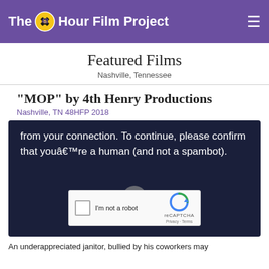The 48 Hour Film Project
Featured Films
Nashville, Tennessee
"MOP" by 4th Henry Productions
Nashville, TN 48HFP 2018
[Figure (screenshot): A CAPTCHA verification overlay on a dark navy background displaying text: 'from your connection. To continue, please confirm that youâ€™re a human (and not a spambot).' with a reCAPTCHA widget showing a checkbox labeled 'I'm not a robot' and the reCAPTCHA logo with Privacy and Terms links.]
An underappreciated janitor, bullied by his coworkers may